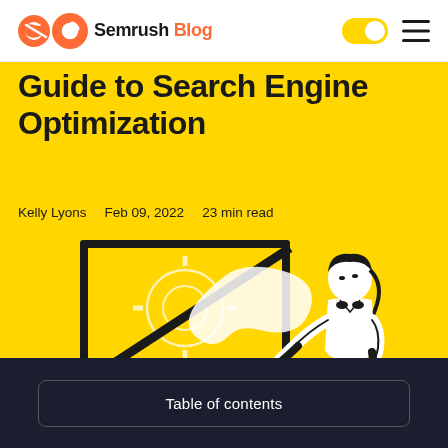Semrush Blog
Guide to Search Engine Optimization
Kelly Lyons   Feb 09, 2022   23 min read
[Figure (illustration): Line art illustration of a person pointing at a blackboard with a gear diagram, on a yellow background]
Table of contents